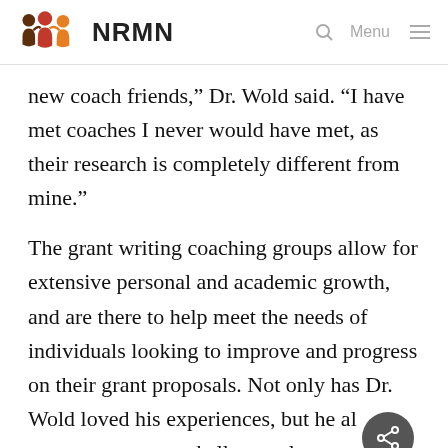NRMN
new coach friends,” Dr. Wold said. “I have met coaches I never would have met, as their research is completely different from mine.”
The grant writing coaching groups allow for extensive personal and academic growth, and are there to help meet the needs of individuals looking to improve and progress on their grant proposals. Not only has Dr. Wold loved his experiences, but he al... encourages any and all to apply to a